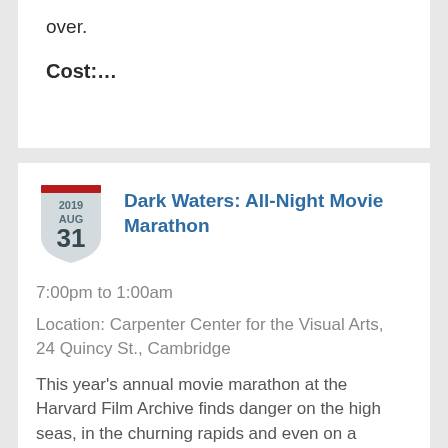over.
Cost:…
Dark Waters: All-Night Movie Marathon
7:00pm to 1:00am
Location: Carpenter Center for the Visual Arts, 24 Quincy St., Cambridge
This year's annual movie marathon at the Harvard Film Archive finds danger on the high seas, in the churning rapids and even on a